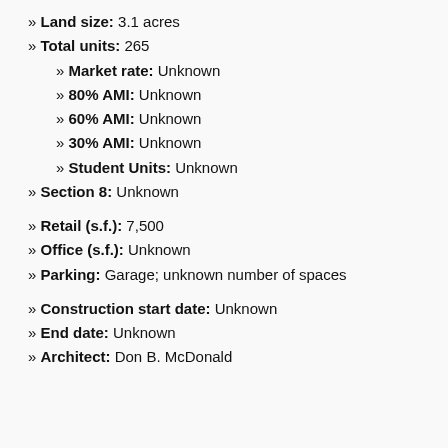» Land size: 3.1 acres
» Total units: 265
» Market rate: Unknown
» 80% AMI: Unknown
» 60% AMI: Unknown
» 30% AMI: Unknown
» Student Units: Unknown
» Section 8: Unknown
» Retail (s.f.): 7,500
» Office (s.f.): Unknown
» Parking: Garage; unknown number of spaces
» Construction start date: Unknown
» End date: Unknown
» Architect: Don B. McDonald